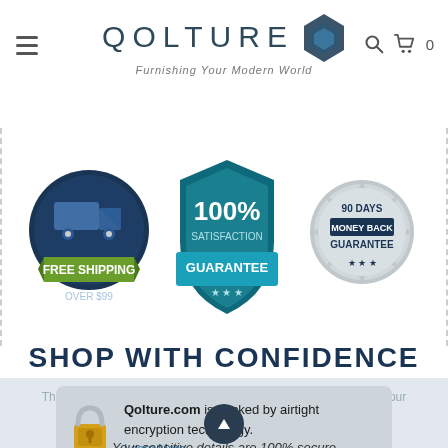[Figure (logo): Qolture logo with blue geometric diamond shape and tagline 'Furnishing Your Modern World']
[Figure (infographic): Three trust badges: 1) Free Shipping Over $99 (dark blue circle with truck, green ribbon), 2) 100% Satisfaction Guarantee (teal shield), 3) 90 Days Money Back Guarantee (silver starburst)]
SHOP WITH CONFIDENCE
The Qolture Website may use "cookies" to help you personalize your online experience.
[Figure (illustration): Yellow padlock security icon]
Qolture.com is backed by airtight encryption technology.
Learn More
Your sensitive details are 100% secure
I Agree
GUARANTEED!